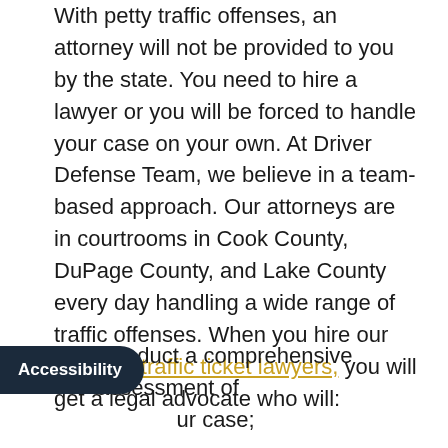With petty traffic offenses, an attorney will not be provided to you by the state. You need to hire a lawyer or you will be forced to handle your case on your own. At Driver Defense Team, we believe in a team-based approach. Our attorneys are in courtrooms in Cook County, DuPage County, and Lake County every day handling a wide range of traffic offenses. When you hire our Chicago traffic ticket lawyers, you will get a legal advocate who will:
Conduct a comprehensive assessment of your case;
Review your driving background and